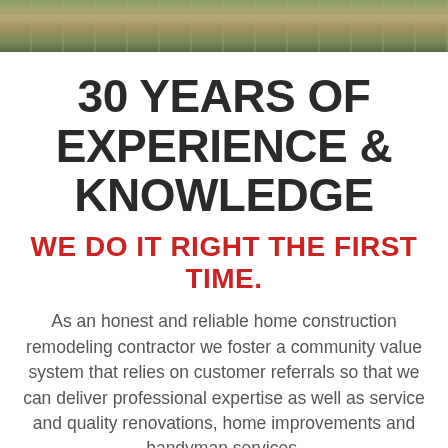[Figure (photo): Outdoor photo strip showing grass and stone/brick pathway at the top of the page]
30 YEARS OF EXPERIENCE & KNOWLEDGE
WE DO IT RIGHT THE FIRST TIME.
As an honest and reliable home construction remodeling contractor we foster a community value system that relies on customer referrals so that we can deliver professional expertise as well as service and quality renovations, home improvements and handyman services.